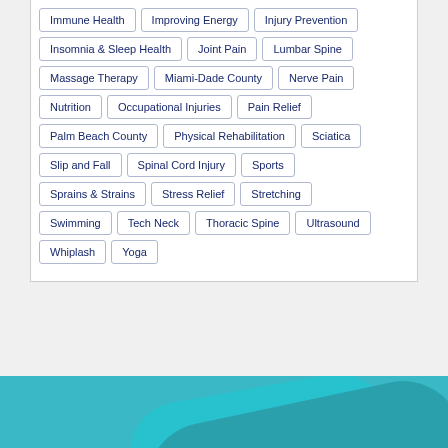Immune Health
Improving Energy
Injury Prevention
Insomnia & Sleep Health
Joint Pain
Lumbar Spine
Massage Therapy
Miami-Dade County
Nerve Pain
Nutrition
Occupational Injuries
Pain Relief
Palm Beach County
Physical Rehabilitation
Sciatica
Slip and Fall
Spinal Cord Injury
Sports
Sprains & Strains
Stress Relief
Stretching
Swimming
Tech Neck
Thoracic Spine
Ultrasound
Whiplash
Yoga
[Figure (illustration): Teal/turquoise decorative panel at the bottom of the page with layered rounded shapes in varying shades of teal]